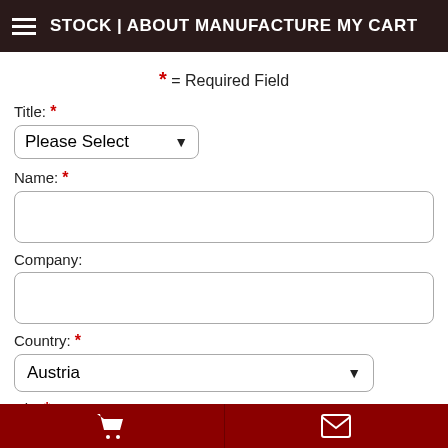STOCK | ABOUT MANUFACTURE MY CART
* = Required Field
Title: *
Please Select
Name: *
Company:
Country: *
Austria
City *: